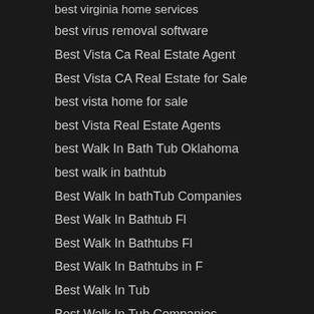best virginia home services
best virus removal software
Best Vista Ca Real Estate Agent
Best Vista CA Real Estate for Sale
best vista home for sale
best Vista Real Estate Agents
best Walk In Bath Tub Oklahoma
best walk in bathtub
Best Walk In bathTub Companies
Best Walk In Bathtub Fl
Best Walk In Bathtubs Fl
Best Walk In Bathtubs in F
Best Walk In Tub
Best Walk In Tub Companies
Best Walk In Tub Company
best walkin tubs
BEST WATER DAMAGE